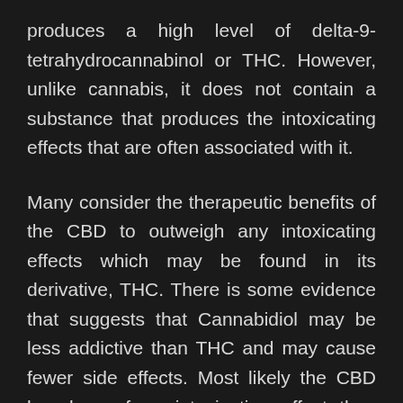produces a high level of delta-9-tetrahydrocannabinol or THC. However, unlike cannabis, it does not contain a substance that produces the intoxicating effects that are often associated with it.
Many consider the therapeutic benefits of the CBD to outweigh any intoxicating effects which may be found in its derivative, THC. There is some evidence that suggests that Cannabidiol may be less addictive than THC and may cause fewer side effects. Most likely the CBD has less of an intoxicating effect than THC and is considered a safer compound.